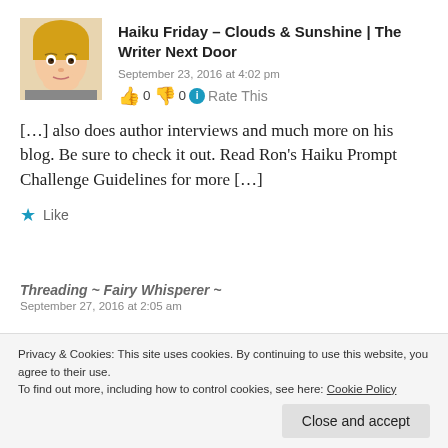[Figure (photo): Avatar photo of a young woman with blonde hair]
Haiku Friday – Clouds & Sunshine | The Writer Next Door
September 23, 2016 at 4:02 pm
👍 0 👎 0 ℹ Rate This
[…] also does author interviews and much more on his blog. Be sure to check it out. Read Ron's Haiku Prompt Challenge Guidelines for more […]
★ Like
Privacy & Cookies: This site uses cookies. By continuing to use this website, you agree to their use.
To find out more, including how to control cookies, see here: Cookie Policy
Threading ~ Fairy Whisperer ~
September 27, 2016 at 2:05 am